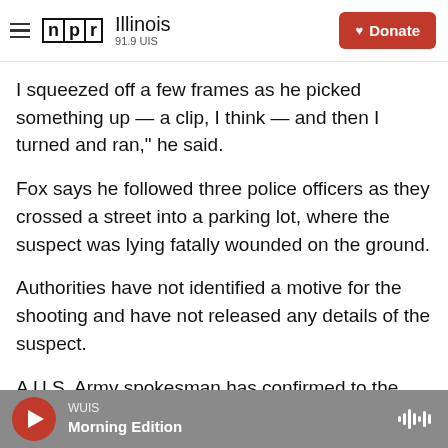NPR Illinois 91.9 UIS
I squeezed off a few frames as he picked something up — a clip, I think — and then I turned and ran," he said.
Fox says he followed three police officers as they crossed a street into a parking lot, where the suspect was lying fatally wounded on the ground.
Authorities have not identified a motive for the shooting and have not released any details of the suspect.
A U.S. Army spokesman has confirmed to the
WUIS Morning Edition